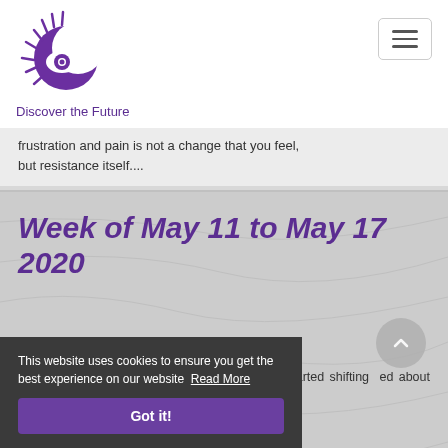Discover the Future
frustration and pain is not a change that you feel, but resistance itself....
Week of May 11 to May 17 2020
Aries: Hermit: You will be doing some soul e started shifting ed about which d quiet, you will going to get. A
This website uses cookies to ensure you get the best experience on our website Read More
Got it!